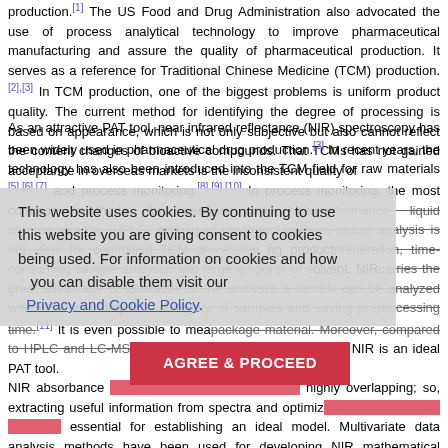production.[1] The US Food and Drug Administration also advocated the use of process analytical technology (PAT) to improve pharmaceutical manufacturing and assure the quality of pharmaceutical production. It serves as a reference for Traditional Chinese Medicine (TCM) production.[2],[3] In TCM production, one of the biggest problems is uniform product quality. The current method for identifying the degree of processing is based on appearance, which is not only subjective but also cannot reflect the content changes of bioactive compounds. That TCMs has not gained acceptance in overseas markets is the inconsistent quality of TCM products.
As an attractive PAT tool, near infrared reflectance (NIR) spectroscopy has been widely used in pharmaceutical drug production.[3] In recent years, the technology has also been introduced into the TCM field for raw materials [5],[6],[7] and process monitoring.[8],[9],[10] In process monitoring, the most common methods for analysis are high-performance liquid chromatography (HPLC) and liquid chromatography-mass spectrometry (LC-MS). However, online analysis is not ideal for controlling TCM processing because of the time-consuming sample preparation, time-consuming sample analysis, and large amounts of solvent. NIR spectroscopy carries the great advantage of the non-destructive character of the analysis: a sample can be analyzed without or with only little sample preparation, maintaining the integrity of samples and saving preprocessing time.[11] It is even possible to measure NIR spectra through package material. Moreover, compared to HPLC and LC-MS, NIR spectra provide additional advantages. All these advantages show that NIR is an ideal PAT tool.
[Figure (other): Cookie consent overlay with text: 'This website uses cookies. By continuing to use this website you are giving consent to cookies being used. For information on cookies and how you can disable them visit our Privacy and Cookie Policy.' and a red 'AGREE & PROCEED' button.]
NIR absorbance peaks were relatively weak and highly overlapping; so, extracting useful information from spectra and optimizing the raw spectral data are essential for establishing an ideal model. Multivariate data analysis methods have been used for developing NIR mathematical models, such as artificial neural networks (ANN), multiple linear regression, and principal component